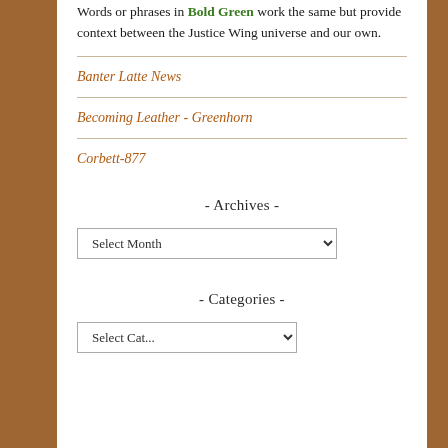Words or phrases in Bold Green work the same but provide context between the Justice Wing universe and our own.
Banter Latte News
Becoming Leather - Greenhorn
Corbett-877
- Archives -
Select Month (dropdown)
- Categories -
Select Category (dropdown)